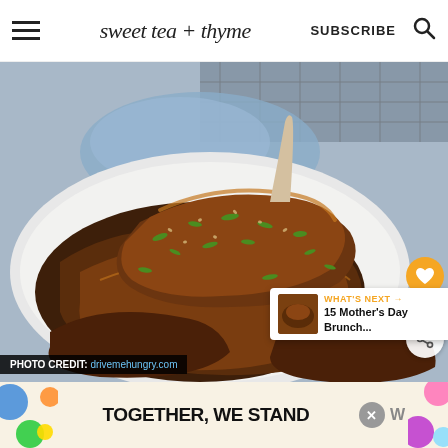sweet tea + thyme | SUBSCRIBE
[Figure (photo): Crispy braised short ribs or similar glazed meat dish garnished with sliced green onions and sesame seeds, served on a white plate with blue napkin in background, on a cooling rack]
PHOTO CREDIT: drivemehungry.com
WHAT'S NEXT → 15 Mother's Day Brunch...
TOGETHER, WE STAND